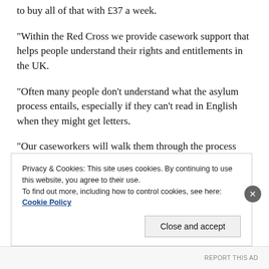to buy all of that with £37 a week.
“Within the Red Cross we provide casework support that helps people understand their rights and entitlements in the UK.
“Often many people don’t understand what the asylum process entails, especially if they can’t read in English when they might get letters.
“Our caseworkers will walk them through the process and help them interpret letters they receive from the
Privacy & Cookies: This site uses cookies. By continuing to use this website, you agree to their use.
To find out more, including how to control cookies, see here: Cookie Policy
Close and accept
REPORT THIS AD